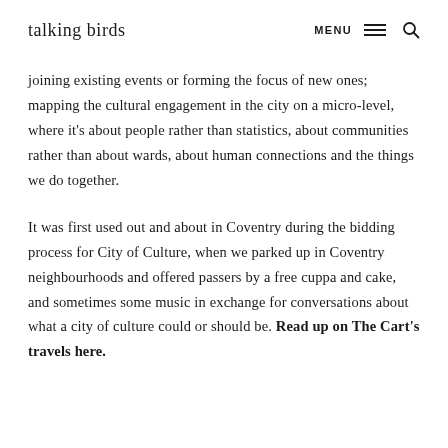talking birds  MENU
joining existing events or forming the focus of new ones; mapping the cultural engagement in the city on a micro-level, where it's about people rather than statistics, about communities rather than about wards, about human connections and the things we do together.
It was first used out and about in Coventry during the bidding process for City of Culture, when we parked up in Coventry neighbourhoods and offered passers by a free cuppa and cake, and sometimes some music in exchange for conversations about what a city of culture could or should be. Read up on The Cart's travels here.